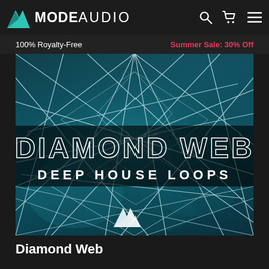MODE AUDIO
100% Royalty-Free    Summer Sale: 30% Off
[Figure (illustration): Diamond Web Deep House Loops product cover art — teal/cyan geometric web pattern with white line grid on dark blue/teal background, title text 'DIAMOND WEB' in large blocky outlined letters, subtitle 'DEEP HOUSE LOOPS' below, ModeAudio mountain logo at bottom center]
Diamond Web